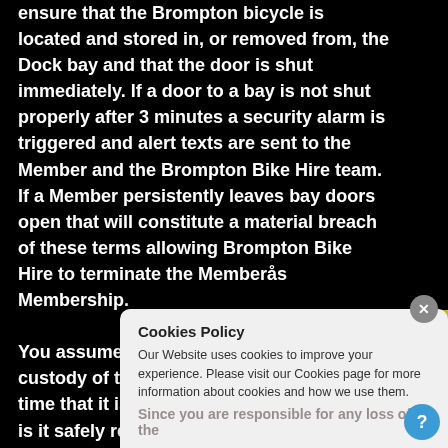ensure that the Brompton bicycle is located and stored in, or removed from, the Dock bay and that the door is shut immediately. If a door to a bay is not shut properly after 3 minutes a security alarm is triggered and alert texts are sent to the Member and the Brompton Bike Hire team. If a Member persistently leaves bay doors open that will constitute a material breach of these terms allowing Brompton Bike Hire to terminate the Memberås Membership.

You assume total responsibility and custody of the Brompton bicycle from the time that it is dispensed until the time that is it safely returned and securely deposited in a
Cookies Policy
Our Website uses cookies to improve your experience. Please visit our Cookies page for more information about cookies and how we use them.
Since you are responsible for any loss of the